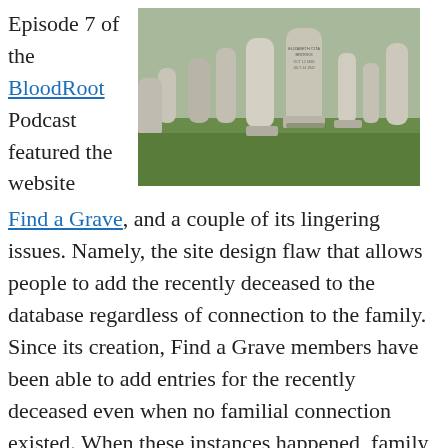Episode 7 of the BloodRoot Podcast featured the website
[Figure (photo): Photograph of a cemetery with multiple gravestones on green grass, including a prominent stone reading 'Elizabeth Cita Brooks OCT 12 1860 JULY 14 1942']
Find a Grave, and a couple of its lingering issues. Namely, the site design flaw that allows people to add the recently deceased to the database regardless of connection to the family. Since its creation, Find a Grave members have been able to add entries for the recently deceased even when no familial connection existed. When these instances happened, family members were faced with another level of emotional trauma on top of their current grief. They were then forced to request the management of their loved one's